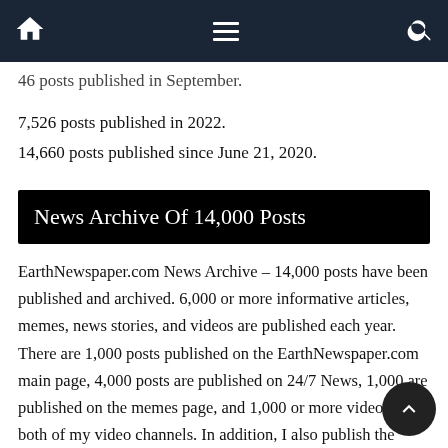Navigation bar with home, menu, and search icons
46 posts published in September.
7,526 posts published in 2022.
14,660 posts published since June 21, 2020.
News Archive Of 14,000 Posts
EarthNewspaper.com News Archive – 14,000 posts have been published and archived. 6,000 or more informative articles, memes, news stories, and videos are published each year. There are 1,000 posts published on the EarthNewspaper.com main page, 4,000 posts are published on 24/7 News, 1,000 are published on the memes page, and 1,000 or more videos on both of my video channels. In addition, I also publish the video of the day and the quote of the day. All posts are acquired from independent, reliable sources, and published